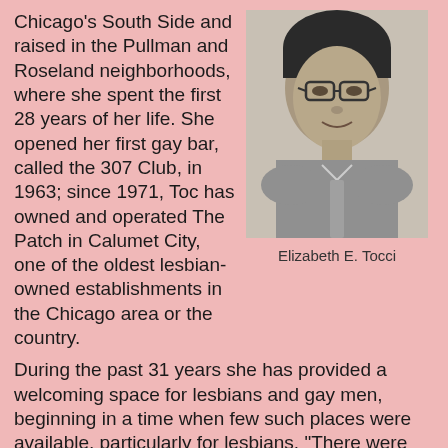Chicago's South Side and raised in the Pullman and Roseland neighborhoods, where she spent the first 28 years of her life. She opened her first gay bar, called the 307 Club, in 1963; since 1971, Toc has owned and operated The Patch in Calumet City, one of the oldest lesbian-owned establishments in the Chicago area or the country.
[Figure (photo): Black and white photograph of Elizabeth E. Tocci, a woman wearing glasses and a collared shirt, smiling slightly.]
Elizabeth E. Tocci
During the past 31 years she has provided a welcoming space for lesbians and gay men, beginning in a time when few such places were available, particularly for lesbians. "There were straight-owned establishments where gay people would go, but before I opened up there were no gay-owned places." The Patch has always been home to a diverse clientele: "Women drove down from the North Side, from the South Side; this was the